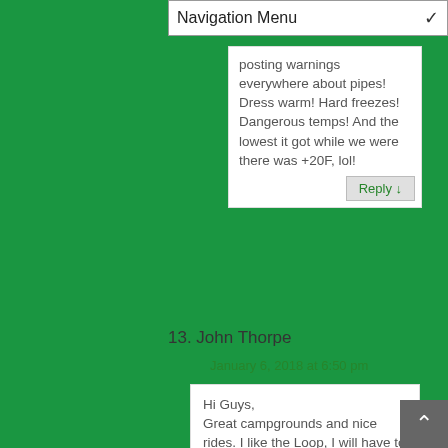Navigation Menu
posting warnings everywhere about pipes! Dress warm! Hard freezes! Dangerous temps! And the lowest it got while we were there was +20F, lol!
Reply ↓
13. John Thorpe
January 6, 2018 at 6:50 pm
Hi Guys,
Great campgrounds and nice rides. I like the Loop, I will have to put it on my bucket list. Stefany, 30 degrees; spring time temps for walking.
We are walking in 12